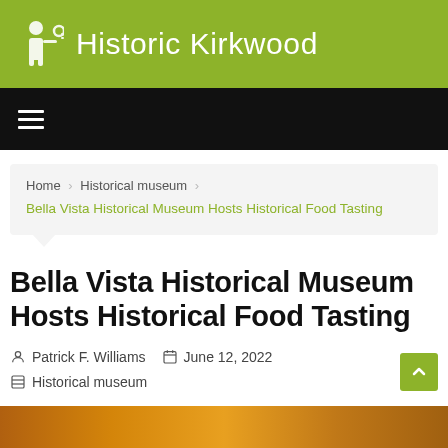Historic Kirkwood
☰ (navigation menu)
Home > Historical museum > Bella Vista Historical Museum Hosts Historical Food Tasting
Bella Vista Historical Museum Hosts Historical Food Tasting
Patrick F. Williams  June 12, 2022  Historical museum